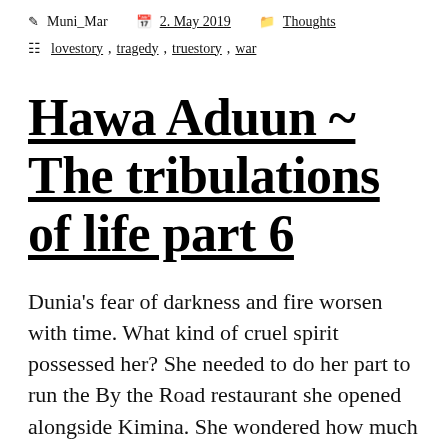Muni_Mar   2. May 2019   Thoughts
lovestory, tragedy, truestory, war
Hawa Aduun ~ The tribulations of life part 6
Dunia's fear of darkness and fire worsen with time. What kind of cruel spirit possessed her? She needed to do her part to run the By the Road restaurant she opened alongside Kimina. She wondered how much